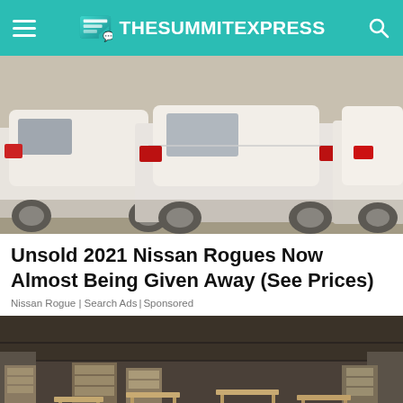TheSummitExpress
[Figure (photo): Row of white Nissan Rogue SUVs parked in a lot, viewed from the rear/side angle]
Unsold 2021 Nissan Rogues Now Almost Being Given Away (See Prices)
Nissan Rogue | Search Ads | Sponsored
[Figure (photo): Interior of a large furniture warehouse showroom with many wooden tables, chairs, shelving units and a dark leather sofa in the foreground]